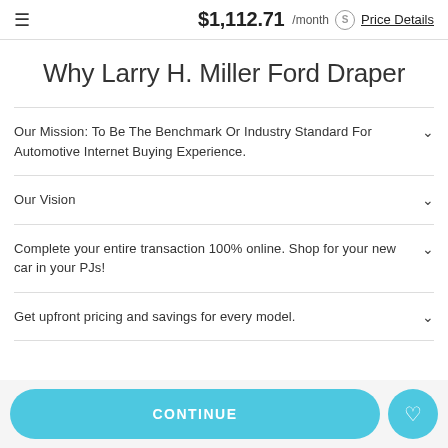$1,112.71 /month  Price Details
Why Larry H. Miller Ford Draper
Our Mission: To Be The Benchmark Or Industry Standard For Automotive Internet Buying Experience.
Our Vision
Complete your entire transaction 100% online. Shop for your new car in your PJs!
Get upfront pricing and savings for every model.
CONTINUE